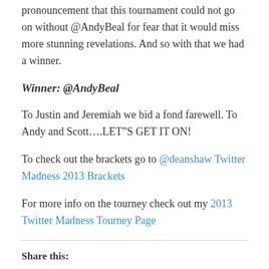pronouncement that this tournament could not go on without @AndyBeal for fear that it would miss more stunning revelations. And so with that we had a winner.
Winner: @AndyBeal
To Justin and Jeremiah we bid a fond farewell. To Andy and Scott….LET"S GET IT ON!
To check out the brackets go to @deanshaw Twitter Madness 2013 Brackets
For more info on the tourney check out my 2013 Twitter Madness Tourney Page
Share this: